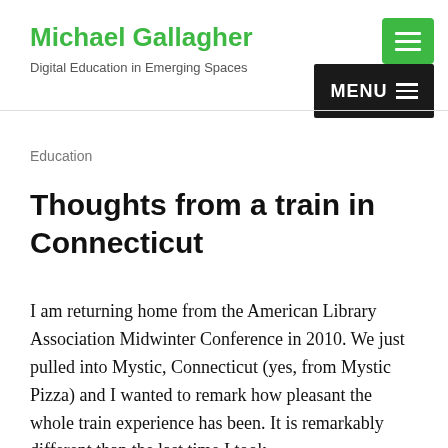Michael Gallagher — Digital Education in Emerging Spaces
Education
Thoughts from a train in Connecticut
I am returning home from the American Library Association Midwinter Conference in 2010. We just pulled into Mystic, Connecticut (yes, from Mystic Pizza) and I wanted to remark how pleasant the whole train experience has been. It is remarkably different than the last time I took